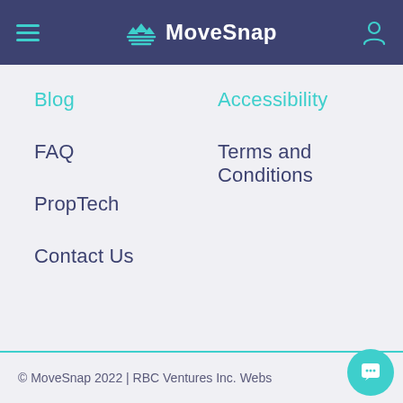MoveSnap
Blog
Accessibility
FAQ
Terms and Conditions
PropTech
Contact Us
© MoveSnap 2022 | RBC Ventures Inc. Webs…